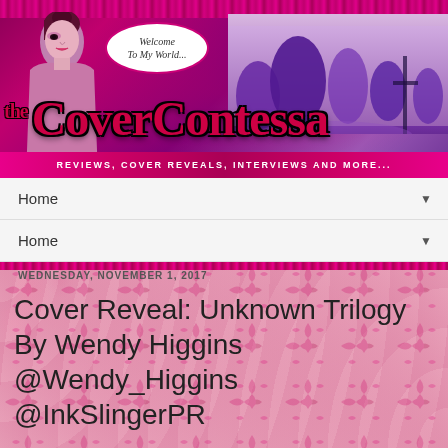[Figure (illustration): The Cover Contessa blog banner with woman figure on left, speech bubble saying 'Welcome To My World...', purple/pink landscape with trees on right, large decorative gothic-style text 'the CoverContessa' in pink/red, and tagline 'REVIEWS, COVER REVEALS, INTERVIEWS AND MORE...' on dark pink bar]
Home ▼
Home ▼
WEDNESDAY, NOVEMBER 1, 2017
Cover Reveal: Unknown Trilogy By Wendy Higgins @Wendy_Higgins @InkSlingerPR